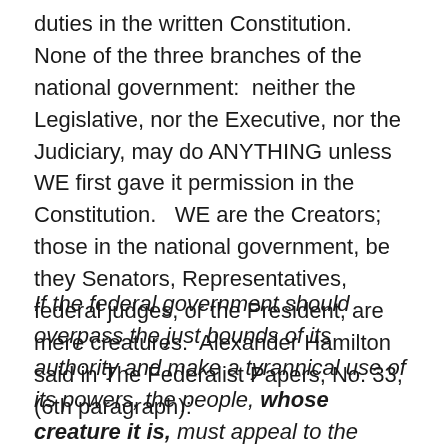duties in the written Constitution.   None of the three branches of the national government:  neither the Legislative, nor the Executive, nor the Judiciary, may do ANYTHING unless WE first gave it permission in the Constitution.   WE are the Creators; those in the national government, be they Senators, Representatives, federal judges, or the President, are mere creatures.  Alexander Hamilton said in The Federalist Papers, No. 33, (6th paragraph):
If the federal government should overpass the just bounds of its authority and make a tyrannical use of its powers, the people, whose creature it is, must appeal to the standard they have formed [the Constitution], and take such measures to redress the injury done to the Constitution as the exigency may suggest and prudence justify [emphasis added].